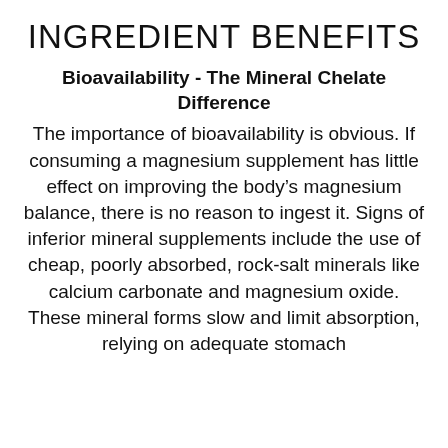INGREDIENT BENEFITS
Bioavailability - The Mineral Chelate Difference
The importance of bioavailability is obvious. If consuming a magnesium supplement has little effect on improving the body’s magnesium balance, there is no reason to ingest it. Signs of inferior mineral supplements include the use of cheap, poorly absorbed, rock-salt minerals like calcium carbonate and magnesium oxide. These mineral forms slow and limit absorption, relying on adequate stomach